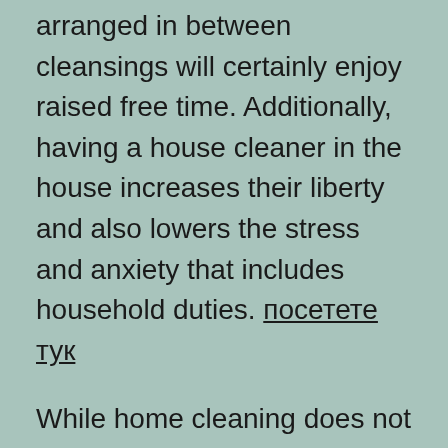arranged in between cleansings will certainly enjoy raised free time. Additionally, having a house cleaner in the house increases their liberty and also lowers the stress and anxiety that includes household duties. посетете тук
While home cleaning does not call for advanced educational training, prospects with a secondary school diploma may have an interest in obtaining the setting. Nevertheless, since many housekeeping tasks need standard education and learning, prospects might intend to include information such as training given or problem for hiring. A well-written job description